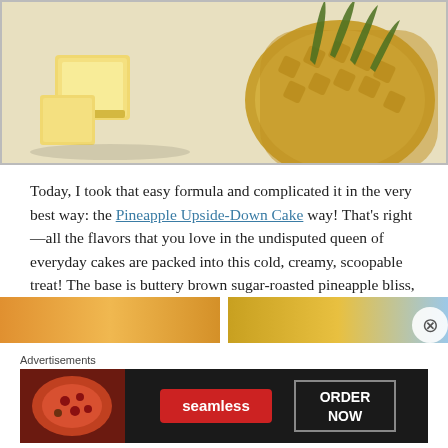[Figure (photo): Close-up photo of pineapple top and pieces of yellow cake on a white surface]
Today, I took that easy formula and complicated it in the very best way: the Pineapple Upside-Down Cake way! That's right—all the flavors that you love in the undisputed queen of everyday cakes are packed into this cold, creamy, scoopable treat! The base is buttery brown sugar-roasted pineapple bliss, and every bite is filled with bits of vanilla cake, maraschino cherries and butterscotch sauce!
[Figure (photo): Partial view of two food images at bottom of page]
Advertisements
[Figure (other): Seamless food delivery advertisement banner with pizza image, seamless logo in red, and ORDER NOW button]